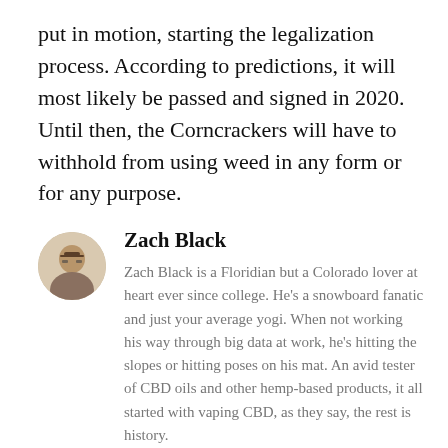put in motion, starting the legalization process. According to predictions, it will most likely be passed and signed in 2020. Until then, the Corncrackers will have to withhold from using weed in any form or for any purpose.
[Figure (photo): Small circular avatar photo of Zach Black, a man wearing glasses]
Zach Black
Zach Black is a Floridian but a Colorado lover at heart ever since college. He's a snowboard fanatic and just your average yogi. When not working his way through big data at work, he's hitting the slopes or hitting poses on his mat. An avid tester of CBD oils and other hemp-based products, it all started with vaping CBD, as they say, the rest is history.